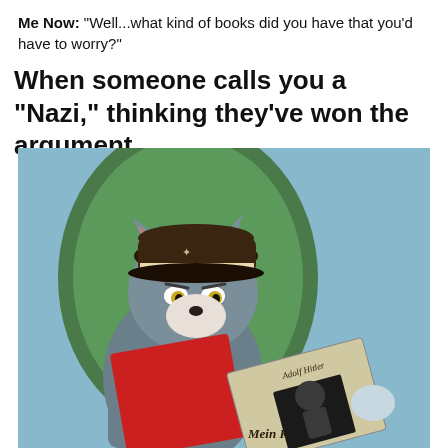Me Now: "Well...what kind of books did you have that you'd have to worry?"
When someone calls you a "Nazi," thinking they've won the argument
[Figure (illustration): Animated cartoon cat (Tom from Tom & Jerry) wearing a Nazi military cap, holding a red book/folder and reading a book labeled 'Adolf Hitler Mein Kampf' against a green and blue background.]